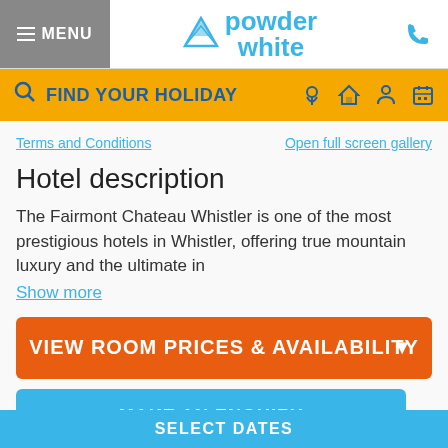≡ MENU | powder white | phone icon
FIND YOUR HOLIDAY
Terms and Conditions
Open full screen gallery
Hotel description
The Fairmont Chateau Whistler is one of the most prestigious hotels in Whistler, offering true mountain luxury and the ultimate in
Show more
VIEW ROOM PRICES & AVAILABILITY
MAKE AN ENQUIRY
ENQUIRE
Room options
SELECT DATES